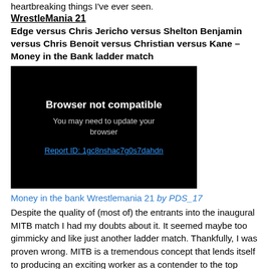heartbreaking things I've ever seen.
WrestleMania 21
Edge versus Chris Jericho versus Shelton Benjamin versus Chris Benoit versus Christian versus Kane – Money in the Bank ladder match
[Figure (screenshot): Video player showing 'Browser not compatible' error message with text 'You may need to update your browser' and a link 'Report ID: 1gc8nshac7g0s7dahdn']
Money in the bank Wrestlemania 21 by PDS_17
Despite the quality of (most of) the entrants into the inaugural MITB match I had my doubts about it. It seemed maybe too gimmicky and like just another ladder match. Thankfully, I was proven wrong. MITB is a tremendous concept that lends itself to producing an exciting worker as a contender to the top titles. It is a great way to push